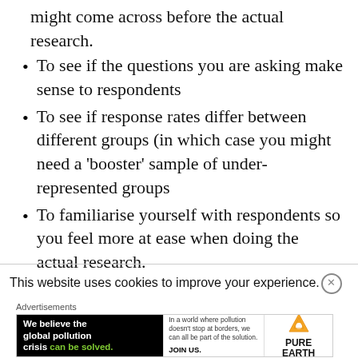might come across before the actual research.
To see if the questions you are asking make sense to respondents
To see if response rates differ between different groups (in which case you might need a ‘booster’ sample of under-represented groups
To familiarise yourself with respondents so you feel more at ease when doing the actual research.
This website uses cookies to improve your experience.
Advertisements
[Figure (other): Advertisement banner for Pure Earth organization about global pollution crisis]